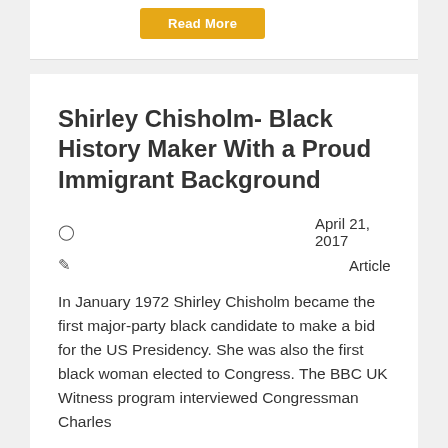[Figure (other): Read More button in gold/yellow color]
Shirley Chisholm- Black History Maker With a Proud Immigrant Background
April 21, 2017
Article
In January 1972 Shirley Chisholm became the first major-party black candidate to make a bid for the US Presidency. She was also the first black woman elected to Congress. The BBC UK Witness program interviewed Congressman Charles